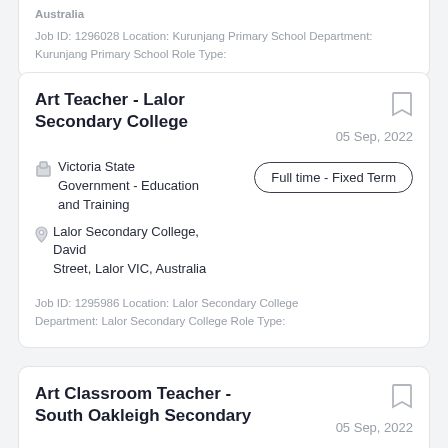Australia
Job ID: 1296028 Location: Kurunjang Primary School Department: Kurunjang Primary School Role Type:
Art Teacher - Lalor Secondary College
05 Sep, 2022
Full time - Fixed Term
Victoria State Government - Education and Training
Lalor Secondary College, David Street, Lalor VIC, Australia
Job ID: 1295986 Location: Lalor Secondary College Department: Lalor Secondary College Role Type:
Art Classroom Teacher - South Oakleigh Secondary
05 Sep, 2022